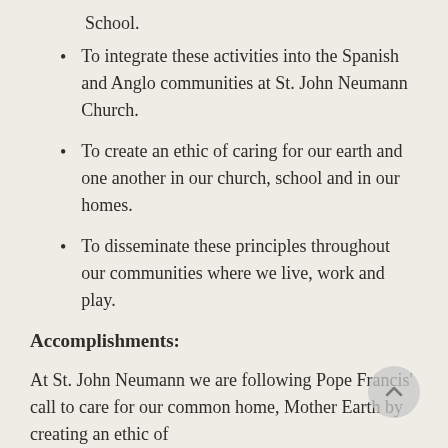School.
To integrate these activities into the Spanish and Anglo communities at St. John Neumann Church.
To create an ethic of caring for our earth and one another in our church, school and in our homes.
To disseminate these principles throughout our communities where we live, work and play.
Accomplishments:
At St. John Neumann we are following Pope Francis' call to care for our common home, Mother Earth by creating an ethic of